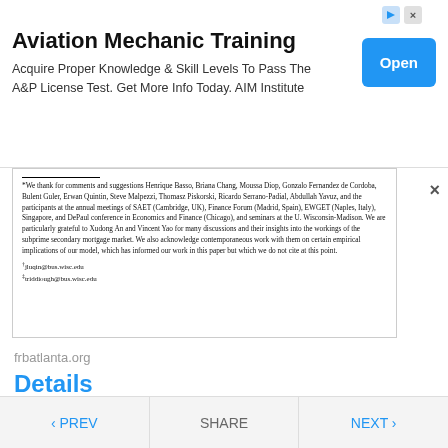[Figure (screenshot): Advertisement banner for Aviation Mechanic Training by AIM Institute with an Open button]
*We thank for comments and suggestions Henrique Basso, Briana Chang, Moussa Diop, Gonzalo Fernandez de Cordoba, Bulent Guler, Erwan Quintin, Steve Malpezzi, Thomasz Piskorski, Ricardo Serrano-Padial, Abdullah Yavuz, and the participants at the annual meetings of SAET (Cambridge, UK), Finance Forum (Madrid, Spain), EWGET (Naples, Italy), Singapore, and DePaul conference in Economics and Finance (Chicago), and seminars at the U. Wisconsin-Madison. We are particularly grateful to Xudong An and Vincent Yao for many discussions and their insights into the workings of the subprime secondary mortgage market. We also acknowledge contemporaneous work with them on certain empirical implications of our model, which has informed our work in this paper but which we do not cite at this point.
†jluqin@bus.wisc.edu
‡triddiough@bus.wisc.edu
frbatlanta.org
Details
File Format
PDF
< PREV   SHARE   NEXT >